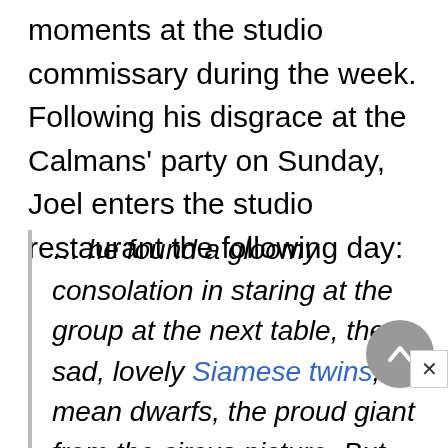moments at the studio commissary during the week. Following his disgrace at the Calmans' party on Sunday, Joel enters the studio restaurant the following day:
… he found a gloomy consolation in staring at the group at the next table, the sad, lovely Siamese twins, the mean dwarfs, the proud giant from the circus picture. But looking beyond at the yellow-stained faces of pretty women,